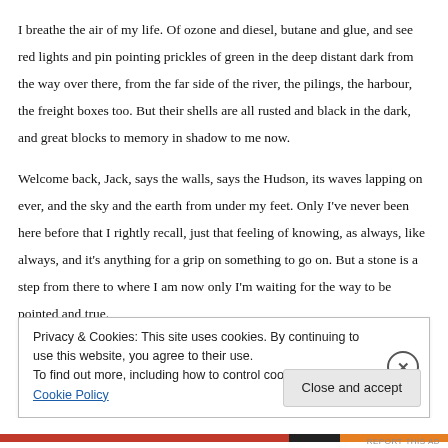I breathe the air of my life. Of ozone and diesel, butane and glue, and see red lights and pin pointing prickles of green in the deep distant dark from the way over there, from the far side of the river, the pilings, the harbour, the freight boxes too. But their shells are all rusted and black in the dark, and great blocks to memory in shadow to me now.
Welcome back, Jack, says the walls, says the Hudson, its waves lapping on ever, and the sky and the earth from under my feet. Only I've never been here before that I rightly recall, just that feeling of knowing, as always, like always, and it's anything for a grip on something to go on. But a stone is a step from there to where I am now only I'm waiting for the way to be pointed and true.
Privacy & Cookies: This site uses cookies. By continuing to use this website, you agree to their use.
To find out more, including how to control cookies, see here: Cookie Policy
REPORT THIS AD